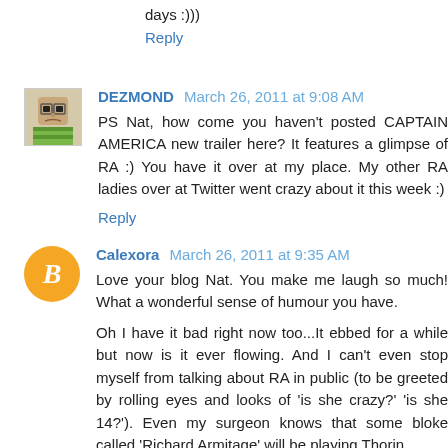days :)))
Reply
DEZMOND March 26, 2011 at 9:08 AM
PS Nat, how come you haven't posted CAPTAIN AMERICA new trailer here? It features a glimpse of RA :) You have it over at my place. My other RA ladies over at Twitter went crazy about it this week :)
Reply
Calexora March 26, 2011 at 9:35 AM
Love your blog Nat. You make me laugh so much! What a wonderful sense of humour you have.
Oh I have it bad right now too...It ebbed for a while but now is it ever flowing. And I can't even stop myself from talking about RA in public (to be greeted by rolling eyes and looks of 'is she crazy?' 'is she 14?'). Even my surgeon knows that some bloke called 'Richard Armitage' will be playing Thorin